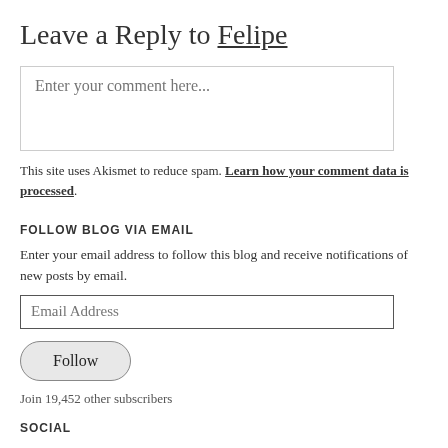Leave a Reply to Felipe
[Figure (other): Comment text area box with placeholder text 'Enter your comment here...']
This site uses Akismet to reduce spam. Learn how your comment data is processed.
FOLLOW BLOG VIA EMAIL
Enter your email address to follow this blog and receive notifications of new posts by email.
[Figure (other): Email Address input field]
[Figure (other): Follow button]
Join 19,452 other subscribers
SOCIAL